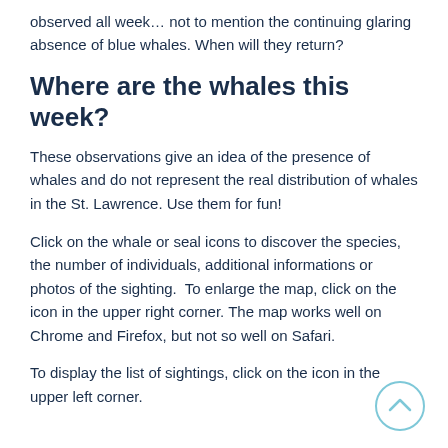observed all week… not to mention the continuing glaring absence of blue whales. When will they return?
Where are the whales this week?
These observations give an idea of the presence of whales and do not represent the real distribution of whales in the St. Lawrence. Use them for fun!
Click on the whale or seal icons to discover the species, the number of individuals, additional informations or photos of the sighting.  To enlarge the map, click on the icon in the upper right corner. The map works well on Chrome and Firefox, but not so well on Safari.
To display the list of sightings, click on the icon in the upper left corner.
[Figure (illustration): A circular scroll-up button with a chevron/arrow pointing upward, drawn in light blue outline style]